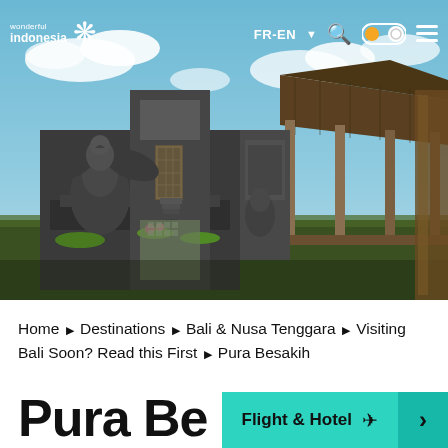wonderful indonesia | FR-EN
[Figure (photo): Balinese Hindu temple complex (Pura Besakih) with ornate stone statues, carved gates, steps leading to the main shrine, a traditional thatched pavilion to the right, and blue sky with clouds in the background.]
Home ▶ Destinations ▶ Bali & Nusa Tenggara ▶ Visiting Bali Soon? Read this First ▶ Pura Besakih
Pura Be…
Flight & Hotel ✈ >